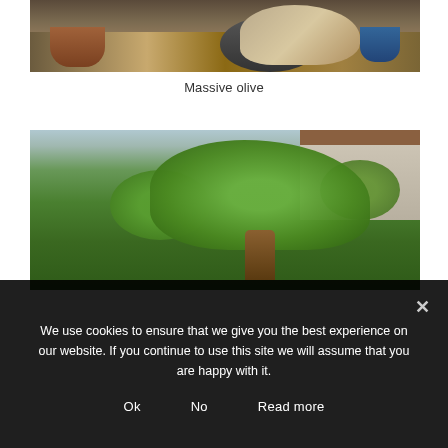[Figure (photo): Photo of bonsai pots and a massive olive tree on a wooden display surface with other potted plants]
Massive olive
[Figure (photo): Photo of a large bonsai pine tree with extensive spreading foliage, surrounded by other bonsai trees in a garden setting with greenhouse and building in background]
We use cookies to ensure that we give you the best experience on our website. If you continue to use this site we will assume that you are happy with it.
Ok   No   Read more